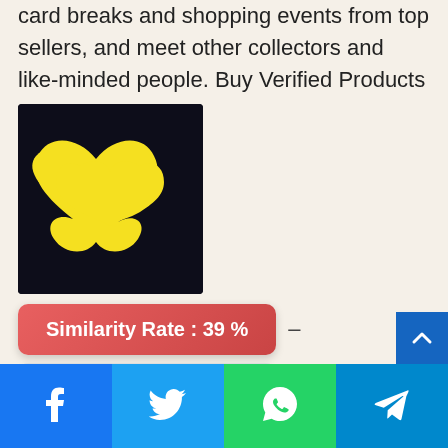card breaks and shopping events from top sellers, and meet other collectors and like-minded people. Buy Verified Products
[Figure (logo): App logo with two overlapping yellow heart shapes on a dark navy/black background]
Similarity Rate : 39 % –
Similar Apps